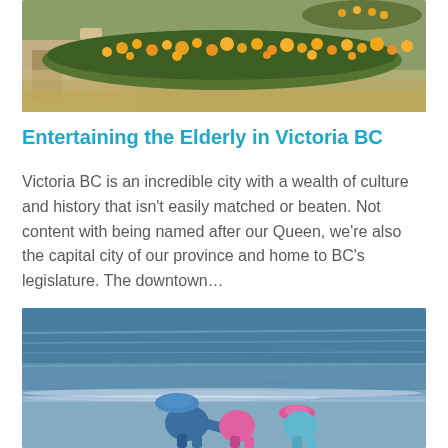[Figure (photo): Garden scene with orange/yellow flowers and stone architectural elements in the background]
Entertaining the Elderly in Victoria BC
Victoria BC is an incredible city with a wealth of culture and history that isn't easily matched or beaten. Not content with being named after our Queen, we're also the capital city of our province and home to BC's legislature. The downtown…
[Figure (photo): Children playing at a waterfront/shoreline, wearing hats and colorful clothing, with blue water in the background]